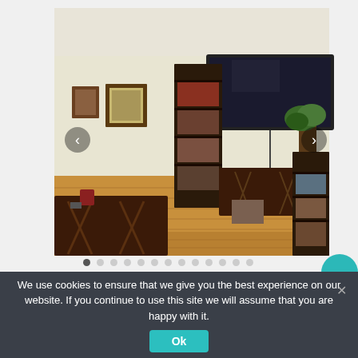[Figure (photo): Interior photo of a living room with hardwood floors, a wall-mounted flat-screen TV, dark wood bookshelves filled with DVDs/books, a dark wood coffee table, a console table beneath the TV, a plant in the corner, and two framed pictures on the wall. Navigation arrows (< and >) are overlaid on the left and right sides of the image.]
We use cookies to ensure that we give you the best experience on our website. If you continue to use this site we will assume that you are happy with it.